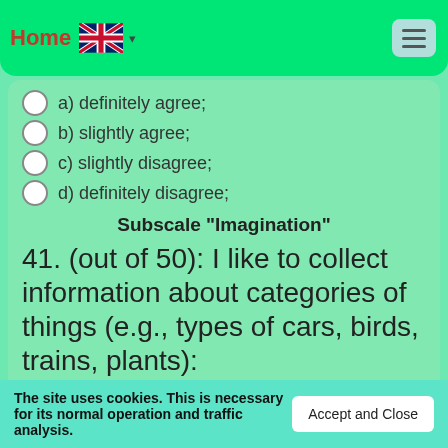Home [UK flag] ▾ [menu]
a) definitely agree;
b) slightly agree;
c) slightly disagree;
d) definitely disagree;
Subscale "Imagination"
41. (out of 50): I like to collect information about categories of things (e.g., types of cars, birds, trains, plants):
Select the only answer
The site uses cookies. This is necessary for its normal operation and traffic analysis.